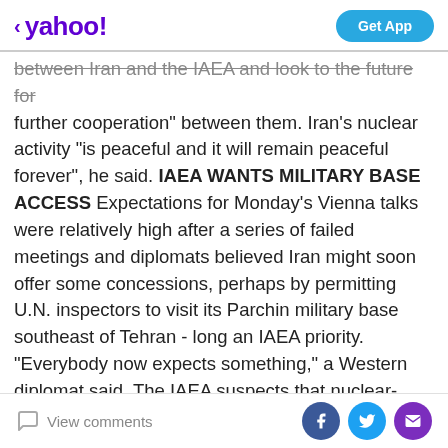< yahoo! | Get App
between Iran and the IAEA and look to the future for further cooperation" between them. Iran's nuclear activity "is peaceful and it will remain peaceful forever", he said. IAEA WANTS MILITARY BASE ACCESS Expectations for Monday's Vienna talks were relatively high after a series of failed meetings and diplomats believed Iran might soon offer some concessions, perhaps by permitting U.N. inspectors to visit its Parchin military base southeast of Tehran - long an IAEA priority. "Everybody now expects something," a Western diplomat said. The IAEA suspects that nuclear-related explosives tests were conducted in a steel chamber at the sprawling military complex, possibly a decade ago, and wants inspectors to interview officials to shed light
View comments